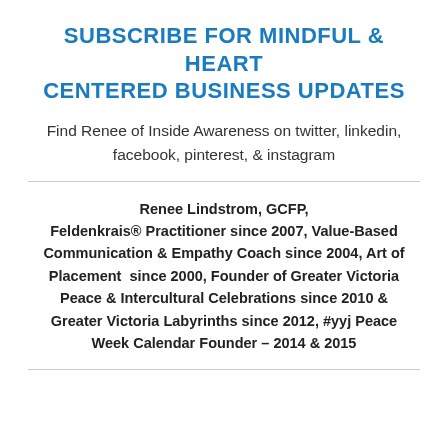SUBSCRIBE FOR MINDFUL & HEART CENTERED BUSINESS UPDATES
Find Renee of Inside Awareness on twitter, linkedin, facebook, pinterest, & instagram
Renee Lindstrom, GCFP, Feldenkrais® Practitioner since 2007, Value-Based Communication & Empathy Coach since 2004, Art of Placement  since 2000, Founder of Greater Victoria Peace & Intercultural Celebrations since 2010 & Greater Victoria Labyrinths since 2012, #yyj Peace Week Calendar Founder – 2014 & 2015